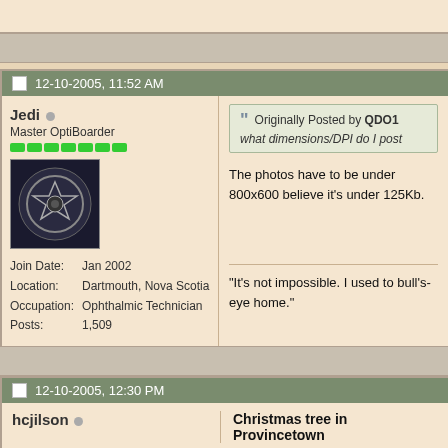12-10-2005, 11:52 AM
Jedi
Master OptiBoarder
Join Date: Jan 2002
Location: Dartmouth, Nova Scotia
Occupation: Ophthalmic Technician
Posts: 1,509
Originally Posted by QDO1
what dimensions/DPI do I post
The photos have to be under 800x600 believe it's under 125Kb.
"It's not impossible. I used to bull's-eye home."
12-10-2005, 12:30 PM
hcjilson
Christmas tree in Provincetown